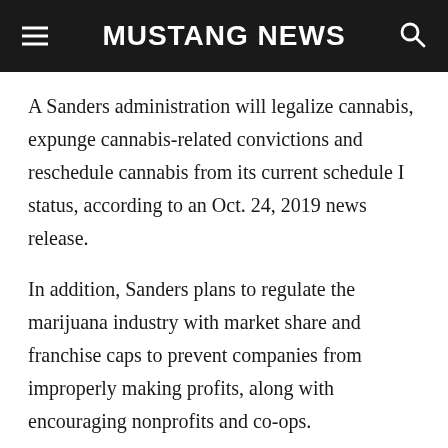MUSTANG NEWS
A Sanders administration will legalize cannabis, expunge cannabis-related convictions and reschedule cannabis from its current schedule I status, according to an Oct. 24, 2019 news release.
In addition, Sanders plans to regulate the marijuana industry with market share and franchise caps to prevent companies from improperly making profits, along with encouraging nonprofits and co-ops.
Sanders’ campaign website said this is to prevent the legal cannabis industry from “from becoming the next Big Tobacco.”